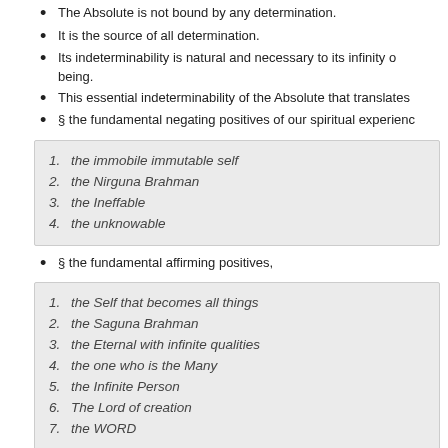The Absolute is not bound by any determination.
It is the source of all determination.
Its indeterminability is natural and necessary to its infinity of being.
This essential indeterminability of the Absolute that translates
§ the fundamental negating positives of our spiritual experience
1. the immobile immutable self
2. the Nirguna Brahman
3. the Ineffable
4. the unknowable
§ the fundamental affirming positives,
1. the Self that becomes all things
2. the Saguna Brahman
3. the Eternal with infinite qualities
4. the one who is the Many
5. the Infinite Person
6. The Lord of creation
7. the WORD